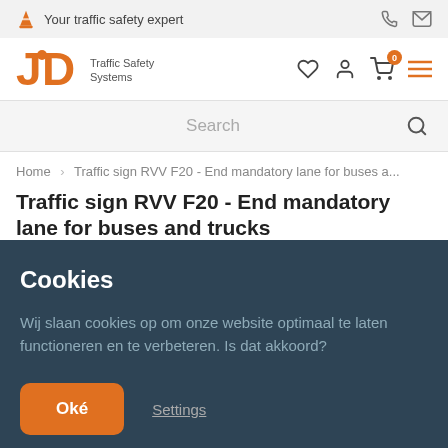Your traffic safety expert
[Figure (logo): JD Traffic Safety Systems logo in orange]
Search
Home > Traffic sign RVV F20 - End mandatory lane for buses a...
Traffic sign RVV F20 - End mandatory lane for buses and trucks
Cookies
Wij slaan cookies op om onze website optimaal te laten functioneren en te verbeteren. Is dat akkoord?
Oké  Settings